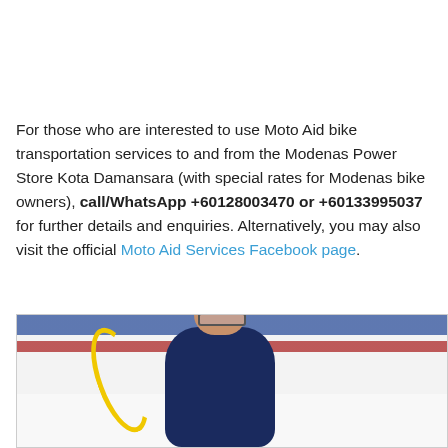For those who are interested to use Moto Aid bike transportation services to and from the Modenas Power Store Kota Damansara (with special rates for Modenas bike owners), call/WhatsApp +60128003470 or +60133995037 for further details and enquiries. Alternatively, you may also visit the official Moto Aid Services Facebook page.
[Figure (photo): A mechanic in a dark blue polo shirt working on a motorcycle inside a Modenas service center, with blue and red wall stripes visible in the background and a yellow coiled cable hanging nearby.]